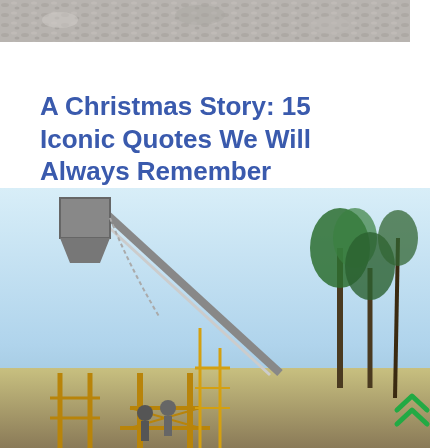[Figure (photo): Top partial image showing a rocky/gravel outdoor scene]
A Christmas Story: 15 Iconic Quotes We Will Always Remember
Dec 13, 2020· A Christmas Story: 15 Iconic Quotes We Will Always Remember. Few films can claim to boast as many memorable quotes as A Christmas Story, and here
[Figure (photo): Industrial construction site with conveyor belts, scaffolding, workers, and palm trees in background]